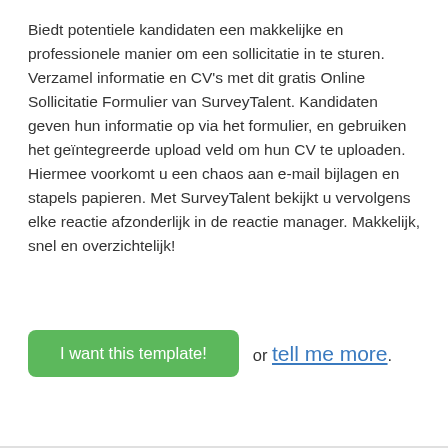Biedt potentiele kandidaten een makkelijke en professionele manier om een sollicitatie in te sturen. Verzamel informatie en CV's met dit gratis Online Sollicitatie Formulier van SurveyTalent. Kandidaten geven hun informatie op via het formulier, en gebruiken het geïntegreerde upload veld om hun CV te uploaden. Hiermee voorkomt u een chaos aan e-mail bijlagen en stapels papieren. Met SurveyTalent bekijkt u vervolgens elke reactie afzonderlijk in de reactie manager. Makkelijk, snel en overzichtelijk!
I want this template! or tell me more.